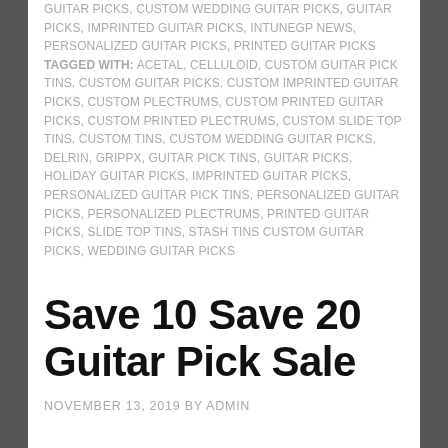GUITAR PICKS, CUSTOM WEDDING GUITAR PICKS, GUITAR PICKS, IMPRINTED GUITAR PICKS, INTUNEGP NEWS, PERSONALIZED GUITAR PICKS, PRINTED GUITAR PICKS TAGGED WITH: ACETAL, CELLULOID, CUSTOM GUITAR PICK TINS, CUSTOM GUITAR PICKS, CUSTOM IMPRINTED GUITAR PICKS, CUSTOM PLECTRUMS, CUSTOM PRINTED GUITAR PICKS, CUSTOM PRINTED PLECTRUMS, CUSTOM SLIDE TOP TINS, CUSTOM TINS, CUSTOM WEDDING GUITAR PICKS, DELRIN, GRIPPX, GUITAR PICK TINS, GUITAR PICKS, HOLIDAY GUITAR PICKS, IMPRINTED GUITAR PICKS, PERSONALIZED GUITAR PICK TINS, PERSONALIZED GUITAR PICKS, PERSONALIZED PLECTRUMS, PRINTED GUITAR PICKS, SLIDE TOP TINS, STASH TINS CUSTOM GUITAR PICKS, WEDDING GUITAR PICKS
Save 10 Save 20 Guitar Pick Sale
NOVEMBER 13, 2019 BY ADMIN